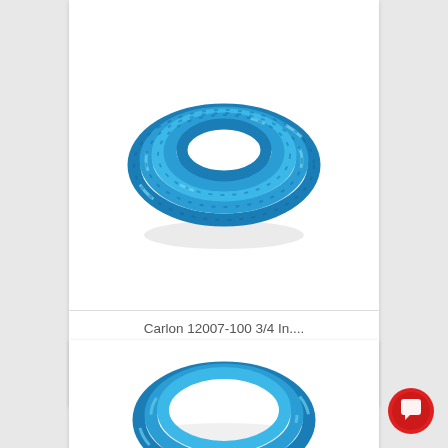[Figure (photo): Coiled blue corrugated flexible conduit tubing on white background]
Carlon 12007-100 3/4 In....
$79.95
one review
[Figure (photo): Partial view of another coiled blue corrugated flexible conduit tubing]
[Figure (illustration): Red circular chat/message button in bottom right corner]